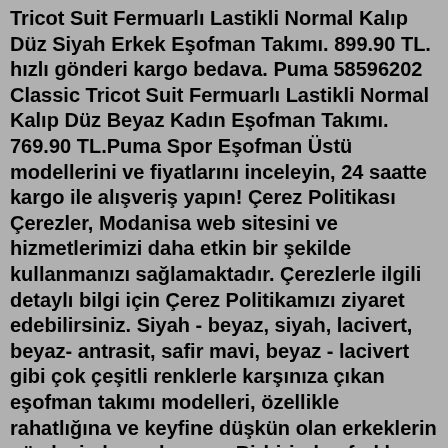Tricot Suit Fermuarlı Lastikli Normal Kalıp Düz Siyah Erkek Eşofman Takımı. 899.90 TL. hızlı gönderi kargo bedava. Puma 58596202 Classic Tricot Suit Fermuarlı Lastikli Normal Kalıp Düz Beyaz Kadın Eşofman Takımı. 769.90 TL.Puma Spor Eşofman Üstü modellerini ve fiyatlarını inceleyin, 24 saatte kargo ile alışveriş yapın! Çerez Politikası Çerezler, Modanisa web sitesini ve hizmetlerimizi daha etkin bir şekilde kullanmanızı sağlamaktadır. Çerezlerle ilgili detaylı bilgi için Çerez Politikamızı ziyaret edebilirsiniz. Siyah - beyaz, siyah, lacivert, beyaz- antrasit, safir mavi, beyaz - lacivert gibi çok çeşitli renklerle karşınıza çıkan eşofman takımı modelleri, özellikle rahatlığına ve keyfine düşkün olan erkeklerin gözdesi olmayı başarır. Birbirinden farklı erkek eşofman takımı modellerine ulaşabileceğiniz sayfamızda üstün ...Puma Poly Suit Erkek Eşofman Takım. Puma. 1.220,00 TL. Satıcı: Sporyum Ordu Kampanyaları Gör 1. 75 TL üzeri kargo bedava. Henüz değerlendirilmemiş. İlk sen değerlendir. beden. Erkek-Eşofman Takımı %100 Güvenli Alışveriş.